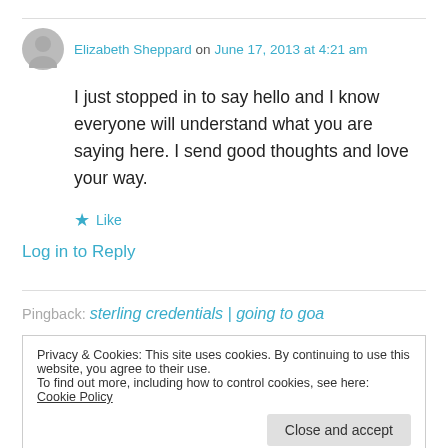Elizabeth Sheppard on June 17, 2013 at 4:21 am
I just stopped in to say hello and I know everyone will understand what you are saying here. I send good thoughts and love your way.
★ Like
Log in to Reply
Pingback: sterling credentials | going to goa
Privacy & Cookies: This site uses cookies. By continuing to use this website, you agree to their use. To find out more, including how to control cookies, see here: Cookie Policy
Close and accept